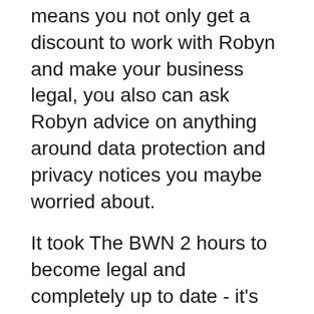means you not only get a discount to work with Robyn and make your business legal, you also can ask Robyn advice on anything around data protection and privacy notices you maybe worried about.
It took The BWN 2 hours to become legal and completely up to date - it's not a big stressful worrying undertaking with Robyn and Adavista.
You may not even realise you need us. Every business must be registered and comply with these requirements. GDPR compliance packages with exclusive BWN Insiders discounts will enable you to